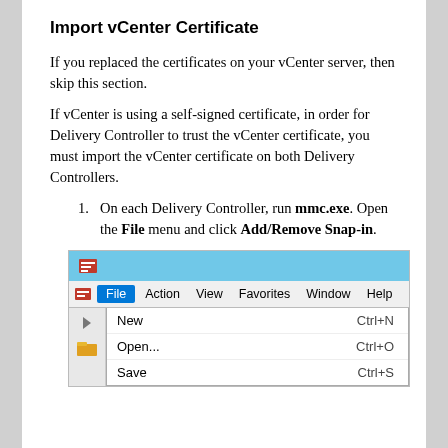Import vCenter Certificate
If you replaced the certificates on your vCenter server, then skip this section.
If vCenter is using a self-signed certificate, in order for Delivery Controller to trust the vCenter certificate, you must import the vCenter certificate on both Delivery Controllers.
On each Delivery Controller, run mmc.exe. Open the File menu and click Add/Remove Snap-in.
[Figure (screenshot): Screenshot of Windows MMC (Microsoft Management Console) showing the File menu open with options: New (Ctrl+N), Open... (Ctrl+O), Save (Ctrl+S). The menu bar shows File, Action, View, Favorites, Window, Help.]